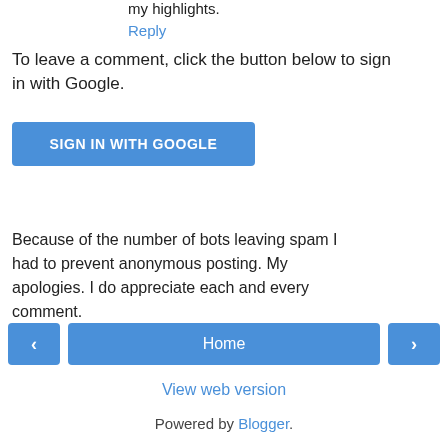my highlights.
Reply
To leave a comment, click the button below to sign in with Google.
SIGN IN WITH GOOGLE
Because of the number of bots leaving spam I had to prevent anonymous posting. My apologies. I do appreciate each and every comment.
‹
Home
›
View web version
Powered by Blogger.